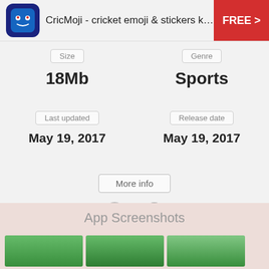CricMoji - cricket emoji & stickers keyb...  FREE >
Size
18Mb
Genre
Sports
Last updated
May 19, 2017
Release date
May 19, 2017
More info
App Screenshots
[Figure (screenshot): Three app screenshot thumbnails showing green cricket field images]